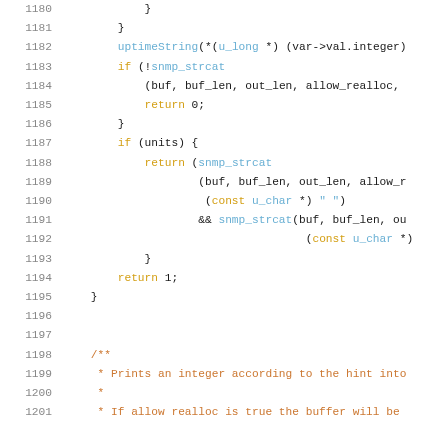[Figure (screenshot): Source code listing showing C code lines 1180-1201 with syntax highlighting. Line numbers in grey on left, keywords in yellow/gold, function names and types in blue, comments in orange/brown, on white background.]